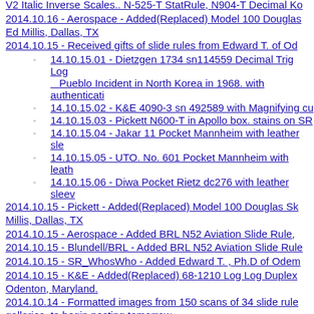V2 Italic Inverse Scales.. N-525-T StatRule, N904-T Decimal Ko
2014.10.16 - Aerospace - Added(Replaced) Model 100 Douglas... Ed Millis, Dallas, TX
2014.10.15 - Received gifts of slide rules from Edward T. of Od
14.10.15.01 - Dietzgen 1734 sn114559 Decimal Trig Log... Pueblo Incident in North Korea in 1968. with authenticati
14.10.15.02 - K&E 4090-3 sn 492589 with Magnifying cu
14.10.15.03 - Pickett N600-T in Apollo box. stains on SR
14.10.15.04 - Jakar 11 Pocket Mannheim with leather sle
14.10.15.05 - UTO. No. 601 Pocket Mannheim with leath
14.10.15.06 - Diwa Pocket Rietz dc276 with leather sleev
2014.10.15 - Pickett - Added(Replaced) Model 100 Douglas Sk... Millis, Dallas, TX
2014.10.15 - Aerospace - Added BRL N52 Aviation Slide Rule,
2014.10.15 - Blundell/BRL - Added BRL N52 Aviation Slide Rule
2014.10.15 - SR_WhosWho - Added Edward T. , Ph.D of Odem
2014.10.15 - K&E - Added(Replaced) 68-1210 Log Log Duplex... Odenton, Maryland.
2014.10.14 - Formatted images from 150 scans of 34 slide rule... galleries, to begin posting tomorrow.
2014.10.14.03 - Acquired Alameda Naval Air Station Engineer's
2014.10.14.02 - Acquired Faber 360 out of UK.
2014.10.14.01 - Acquired Unique Log Log Slide Rule out of UK
2014.10.11 - ISRM was contacted by David O'Conner, after Eb... #181545576880.
2014.10.11 - Discovered that a David O'Conner in England und... ISRM library on DVD as his own work as listiing #181545576888... time and efforts in building the Library. If you bought one of these